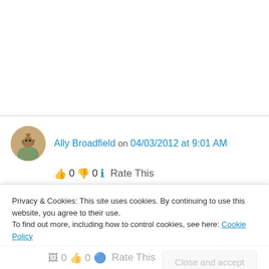Ally Broadfield on 04/03/2012 at 9:01 AM
👍 0 👎 0 ℹ Rate This
Whew! Love the excerpt. I wish stories would come to me that way (I never remember anything I dream about). The story sounds fabulous. Best of luck with it.
Privacy & Cookies: This site uses cookies. By continuing to use this website, you agree to their use.
To find out more, including how to control cookies, see here: Cookie Policy
Close and accept
👍 0 👎 0 🔵 Rate This